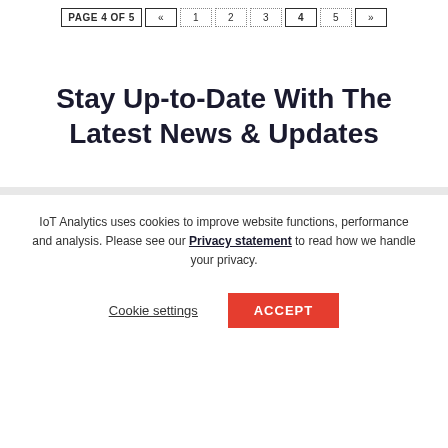PAGE 4 OF 5  «  1  2  3  4  5  »
Stay Up-to-Date With The Latest News & Updates
IoT Analytics uses cookies to improve website functions, performance and analysis. Please see our Privacy statement to read how we handle your privacy.
Cookie settings   ACCEPT